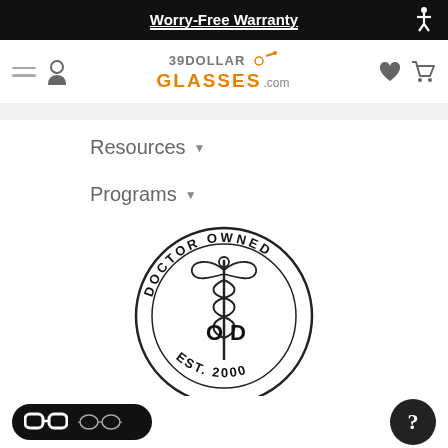Worry-Free Warranty
[Figure (logo): 39DollarGlasses.com logo with orange glasses icon and grey text]
Resources ▾
Programs ▾
[Figure (logo): Doctor Owned badge with caduceus symbol, 'DOCTOR OWNED', 'OD', 'EST. 2000' in circular stamp style]
[Figure (illustration): Glasses style toggle: thick black frames selected on left, thin wireframe on right, on dark pill-shaped toggle button]
[Figure (other): Help button: dark circle with question mark]